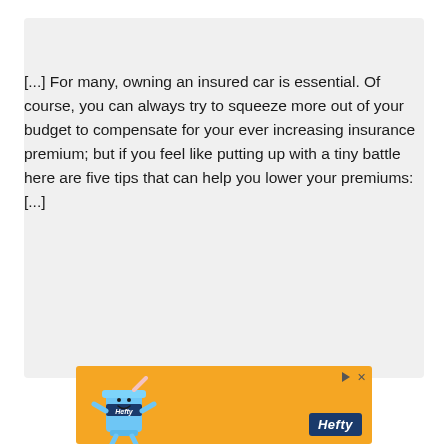[...] For many, owning an insured car is essential. Of course, you can always try to squeeze more out of your budget to compensate for your ever increasing insurance premium; but if you feel like putting up with a tiny battle here are five tips that can help you lower your premiums: [...]
[Figure (infographic): Orange Hefty brand advertisement banner with a cartoon Hefty cup character on the left and the Hefty logo on the bottom right, with play and close controls in the top right.]